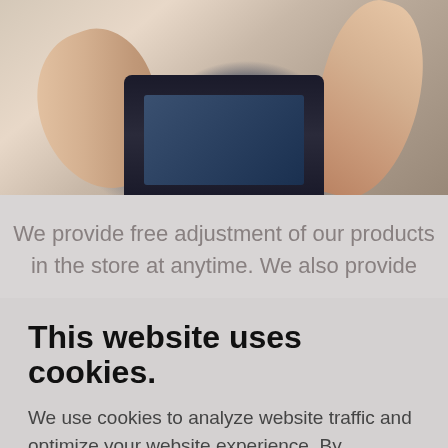[Figure (photo): Close-up photo of hands holding a device, likely a blood glucose meter or similar electronic device, with fingers visible gripping the dark device body against a light background.]
We provide free adjustment of our products in the store at anytime. We also provide
This website uses cookies.
We use cookies to analyze website traffic and optimize your website experience. By accepting our use of cookies, your data will be aggregated with all other user data.
ACCEPT